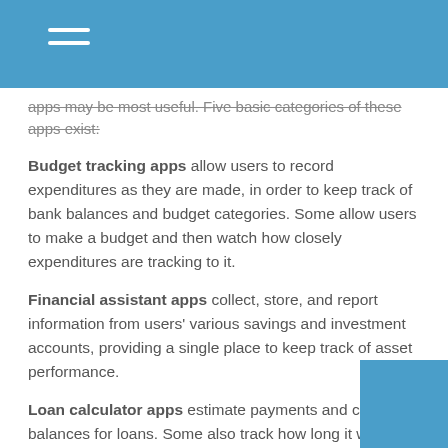apps may be most useful. Five basic categories of these apps exist:
Budget tracking apps allow users to record expenditures as they are made, in order to keep track of bank balances and budget categories. Some allow users to make a budget and then watch how closely expenditures are tracking to it.
Financial assistant apps collect, store, and report information from users' various savings and investment accounts, providing a single place to keep track of asset performance.
Loan calculator apps estimate payments and current balances for loans. Some also track how long it will take to pay off one or more loans.
Spending...